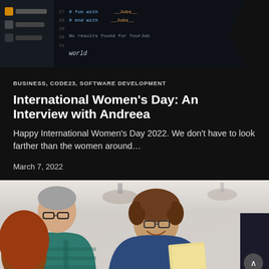[Figure (photo): Dark screenshot of code editor showing programming lines with blue/dark theme, with a dark chevron/arrow shape on the right side]
BUSINESS, CODE23, SOFTWARE DEVELOPMENT
International Women's Day: An Interview with Andreea
Happy International Women's Day 2022. We don't have to look farther than the women around...
March 7, 2022
[Figure (photo): Office meeting photo showing people collaborating: a man with grey hair and glasses on the left, a person with curly hair and glasses smiling in the center, a woman with red hair in the foreground, and another person partially visible on the right. Bright office environment with ceiling lights.]